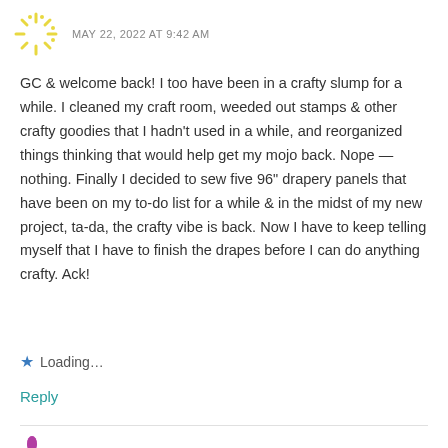[Figure (illustration): Yellow decorative starburst/flower avatar icon]
MAY 22, 2022 AT 9:42 AM
GC & welcome back! I too have been in a crafty slump for a while. I cleaned my craft room, weeded out stamps & other crafty goodies that I hadn't used in a while, and reorganized things thinking that would help get my mojo back. Nope — nothing. Finally I decided to sew five 96" drapery panels that have been on my to-do list for a while & in the midst of my new project, ta-da, the crafty vibe is back. Now I have to keep telling myself that I have to finish the drapes before I can do anything crafty. Ack!
Loading...
Reply
[Figure (illustration): Pink/purple decorative flower avatar icon for next commenter Cathy Buff]